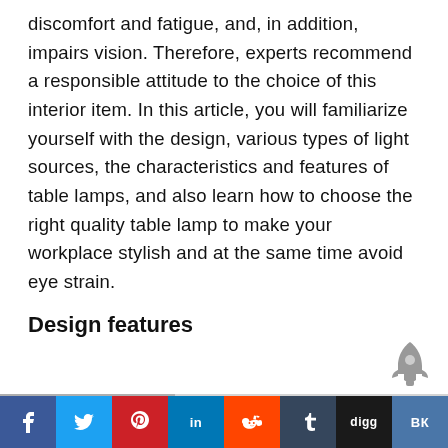discomfort and fatigue, and, in addition, impairs vision. Therefore, experts recommend a responsible attitude to the choice of this interior item. In this article, you will familiarize yourself with the design, various types of light sources, the characteristics and features of table lamps, and also learn how to choose the right quality table lamp to make your workplace stylish and at the same time avoid eye strain.
Design features
[Figure (photo): Partial photo of a table lamp or interior scene, cropped at the bottom of the page]
[Figure (infographic): Social media share bar with buttons: Facebook, Twitter, Pinterest, LinkedIn, Reddit, Tumblr, Digg, VK]